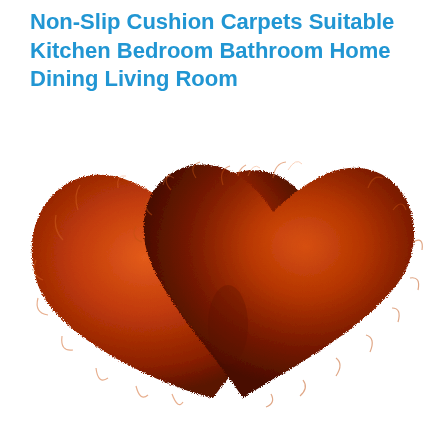Non-Slip Cushion Carpets Suitable Kitchen Bedroom Bathroom Home Dining Living Room
[Figure (photo): Two red/orange fluffy faux fur heart-shaped rugs/carpets side by side on a white background.]